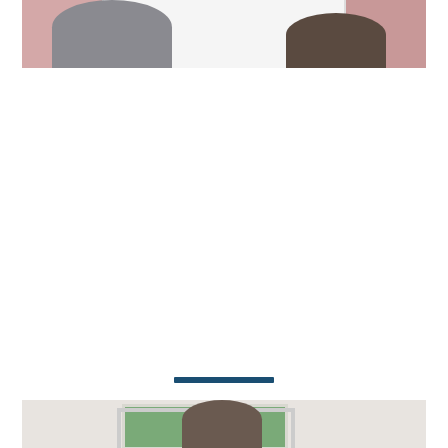[Figure (photo): Top portion of a photo showing two people (one with light grey/blonde hair on the left, one with darker brown hair on the right) in what appears to be a room with pink/rose-colored walls and a white window between them.]
[Figure (other): A dark teal/navy horizontal rectangular divider bar centered on the page.]
[Figure (photo): Top portion of a photo showing a person in what appears to be a white room with a window showing green foliage outside.]